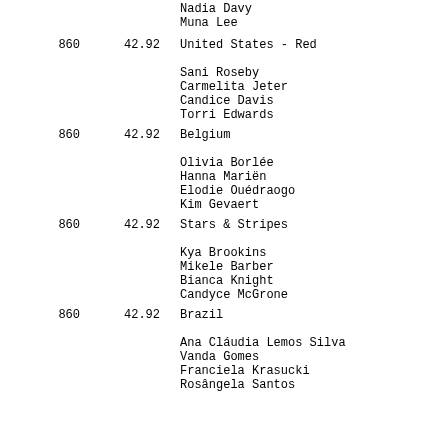Nadia Davy
Muna Lee
860  42.92  United States - Red
Sani Roseby
Carmelita Jeter
Candice Davis
Torri Edwards
860  42.92  Belgium
Olivia Borlée
Hanna Mariën
Elodie Ouédraogo
Kim Gevaert
860  42.92  Stars & Stripes
Kya Brookins
Mikele Barber
Bianca Knight
Candyce McGrone
860  42.92  Brazil
Ana Cláudia Lemos Silva
Vanda Gomes
Franciela Krasucki
Rosângela Santos